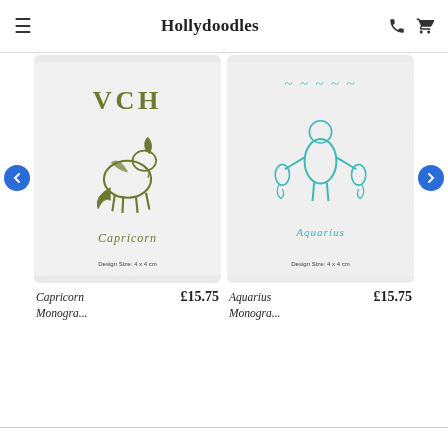Hollydoodles
[Figure (photo): Close-up photo of a white terry cloth towel with olive green embroidered lettering 'VCH' and a Capricorn zodiac goat design. Text at bottom reads 'Design Size: 4 x 4 cm']
[Figure (photo): Close-up photo of a white terry cloth towel with aquamarine/teal embroidered Aquarius zodiac water-bearer design and lettering. Text at bottom reads 'Design Size: 4 x 4 cm']
Capricorn Monogra... £15.75
Aquarius Monogra... £15.75